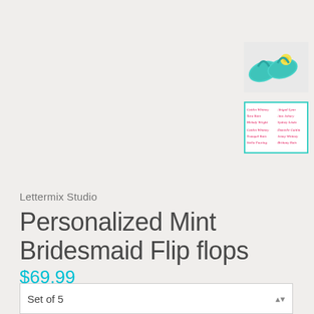[Figure (photo): Thumbnail photo of mint green bridesmaid flip flops with decorative flower, top-right area]
[Figure (photo): Thumbnail image showing a font/style chart with various script names in pink/red text on white background with teal border]
Lettermix Studio
Personalized Mint Bridesmaid Flip flops
$69.99
Quantity
Set of 5